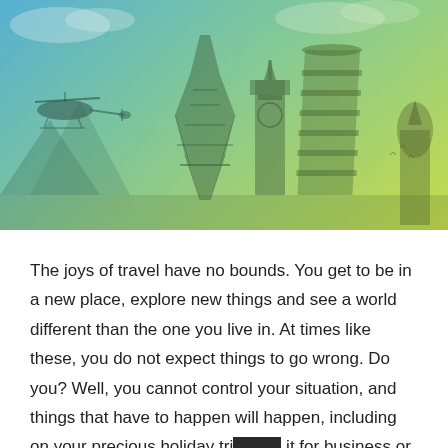[Figure (illustration): Hero banner image with blue-to-yellow-green gradient overlay showing famous world landmarks: Eiffel Tower (Paris), Big Ben (London), Leaning Tower of Pisa, Saint Basil's Cathedral (Moscow), a helicopter, mountains, and birds against a sky background.]
The joys of travel have no bounds. You get to be in a new place, explore new things and see a world different than the one you live in. At times like these, you do not expect things to go wrong. Do you? Well, you cannot control your situation, and things that have to happen will happen, including on your precious holiday trips. Be it for business or a holiday travel, international travel insurance is